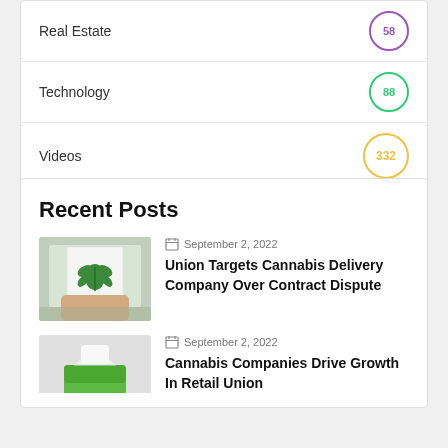Real Estate 58
Technology 88
Videos 332
Recent Posts
September 2, 2022
Union Targets Cannabis Delivery Company Over Contract Dispute
September 2, 2022
Cannabis Companies Drive Growth In Retail Union